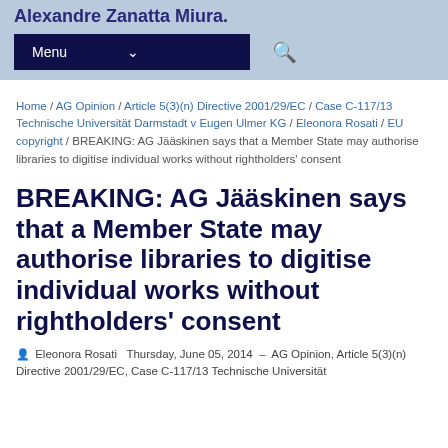Alexandre Zanatta Miura.
Home / AG Opinion / Article 5(3)(n) Directive 2001/29/EC / Case C-117/13 Technische Universität Darmstadt v Eugen Ulmer KG / Eleonora Rosati / EU copyright / BREAKING: AG Jääskinen says that a Member State may authorise libraries to digitise individual works without rightholders' consent
BREAKING: AG Jääskinen says that a Member State may authorise libraries to digitise individual works without rightholders' consent
Eleonora Rosati  Thursday, June 05, 2014  –  AG Opinion, Article 5(3)(n) Directive 2001/29/EC, Case C-117/13 Technische Universität